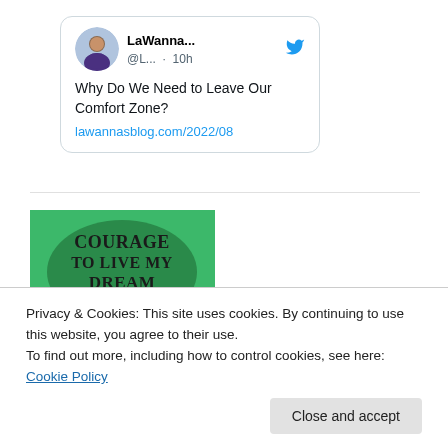[Figure (screenshot): Tweet card from user LaWanna... (@L...) posted 10h ago. Content: 'Why Do We Need to Leave Our Comfort Zone? lawannasblog.com/2022/08'. Includes circular profile photo and Twitter bird icon.]
[Figure (photo): Book cover 'Courage to Live My Dream' with green background and dark serif title text.]
Privacy & Cookies: This site uses cookies. By continuing to use this website, you agree to their use.
To find out more, including how to control cookies, see here: Cookie Policy
Close and accept